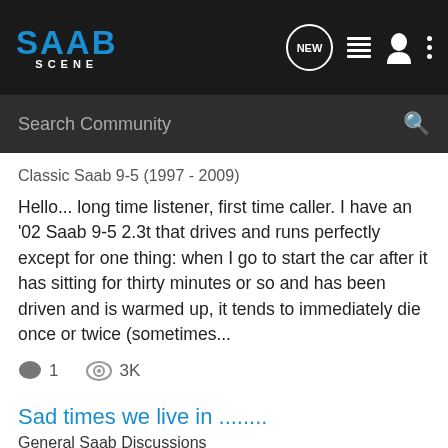SAAB SCENE
Search Community
Classic Saab 9-5 (1997 - 2009)
Hello... long time listener, first time caller. I have an '02 Saab 9-5 2.3t that drives and runs perfectly except for one thing: when I go to start the car after it has sitting for thirty minutes or so and has been driven and is warmed up, it tends to immediately die once or twice (sometimes...
1  3K
leomorgan · Jul 23, 2013
fine
hot
immediately
stalls
stalls on startup
startup
times
when hot
Sad times we live in ........
General Saab Discussions